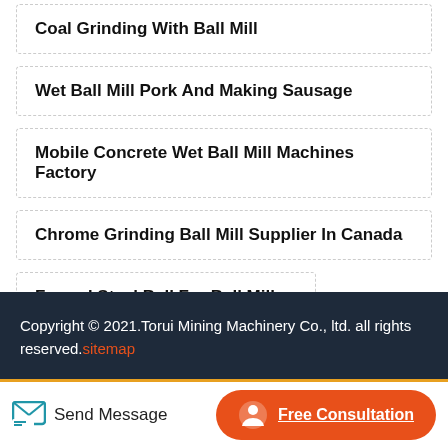Coal Grinding With Ball Mill
Wet Ball Mill Pork And Making Sausage
Mobile Concrete Wet Ball Mill Machines Factory
Chrome Grinding Ball Mill Supplier In Canada
Forged Steel Ball For Ball Mill Supplier
Copyright © 2021.Torui Mining Machinery Co., ltd. all rights reserved. sitemap
Send Message   Free Consultation